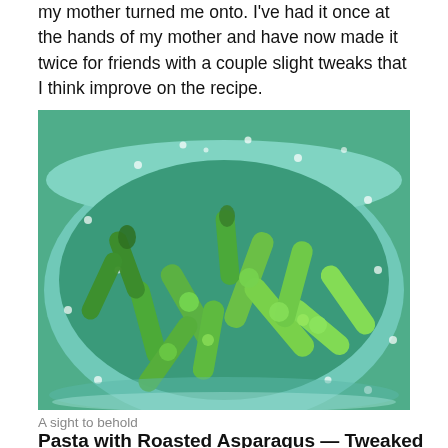my mother turned me onto. I've had it once at the hands of my mother and have now made it twice for friends with a couple slight tweaks that I think improve on the recipe.
[Figure (photo): A teal colander bowl filled with cut asparagus pieces, photographed from above at an angle.]
A sight to behold
Pasta with Roasted Asparagus — Tweaked